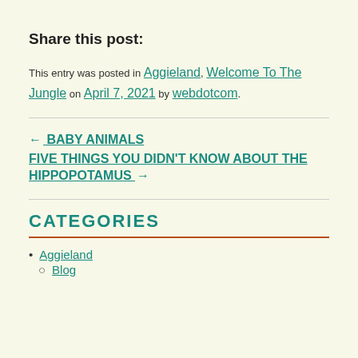Share this post:
This entry was posted in Aggieland, Welcome To The Jungle on April 7, 2021 by webdotcom.
← BABY ANIMALS
FIVE THINGS YOU DIDN'T KNOW ABOUT THE HIPPOPOTAMUS →
CATEGORIES
Aggieland
Blog